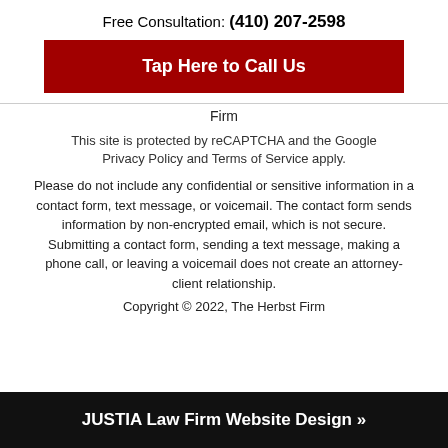Free Consultation: (410) 207-2598
[Figure (other): Red call-to-action button labeled 'Tap Here to Call Us']
Firm
This site is protected by reCAPTCHA and the Google Privacy Policy and Terms of Service apply.
Please do not include any confidential or sensitive information in a contact form, text message, or voicemail. The contact form sends information by non-encrypted email, which is not secure. Submitting a contact form, sending a text message, making a phone call, or leaving a voicemail does not create an attorney-client relationship.
Copyright © 2022, The Herbst Firm
JUSTIA Law Firm Website Design »